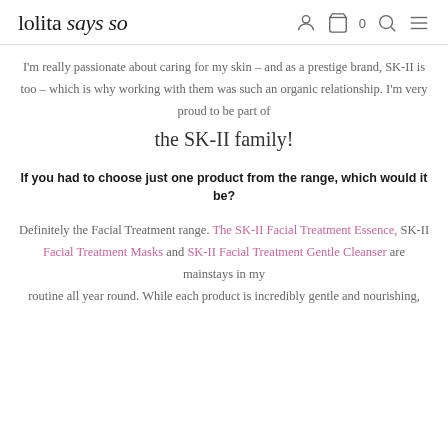lolita says so
I'm really passionate about caring for my skin – and as a prestige brand, SK-II is too – which is why working with them was such an organic relationship. I'm very proud to be part of
the SK-II family!
If you had to choose just one product from the range, which would it be?
Definitely the Facial Treatment range. The SK-II Facial Treatment Essence, SK-II Facial Treatment Masks and SK-II Facial Treatment Gentle Cleanser are mainstays in my routine all year round. While each product is incredibly gentle and nourishing,